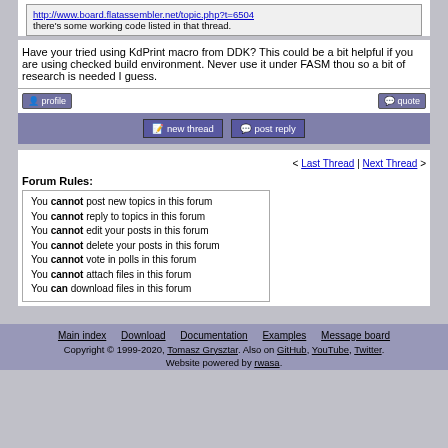http://www.board.flatassembler.net/topic.php?t=6504 there's some working code listed in that thread.
Have your tried using KdPrint macro from DDK? This could be a bit helpful if you are using checked build environment. Never use it under FASM thou so a bit of research is needed I guess.
[Figure (screenshot): profile and quote buttons]
[Figure (screenshot): new thread and post reply buttons]
< Last Thread | Next Thread >
Forum Rules:
You cannot post new topics in this forum
You cannot reply to topics in this forum
You cannot edit your posts in this forum
You cannot delete your posts in this forum
You cannot vote in polls in this forum
You cannot attach files in this forum
You can download files in this forum
Main index  Download  Documentation  Examples  Message board  Copyright © 1999-2020, Tomasz Grysztar. Also on GitHub, YouTube, Twitter. Website powered by rwasa.